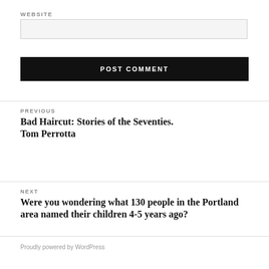WEBSITE
[website input field]
POST COMMENT
PREVIOUS
Bad Haircut: Stories of the Seventies. Tom Perrotta
NEXT
Were you wondering what 130 people in the Portland area named their children 4-5 years ago?
Proudly powered by WordPress